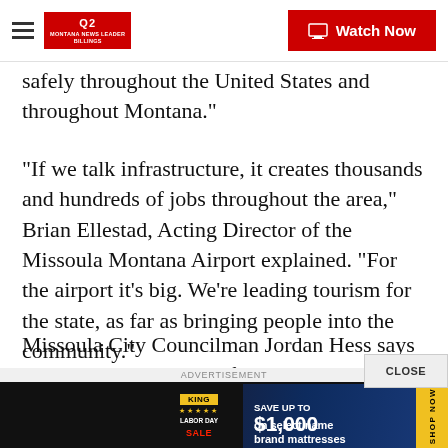Q2 Montana News Leader Billings | Watch Now
safely throughout the United States and throughout Montana."
"If we talk infrastructure, it creates thousands and hundreds of jobs throughout the area," Brian Ellestad, Acting Director of the Missoula Montana Airport explained. "For the airport it's big. We're leading tourism for the state, as far as bringing people into the community."
Missoula City Councilman Jordan Hess says there hasn't been much federal investment in infrastructure projects. And he says the millions of dollars that come...
[Figure (screenshot): Advertisement banner: King mattress sale - Save up to $1,000 on select name brand mattresses. Labor Day Sale. Shop Now.]